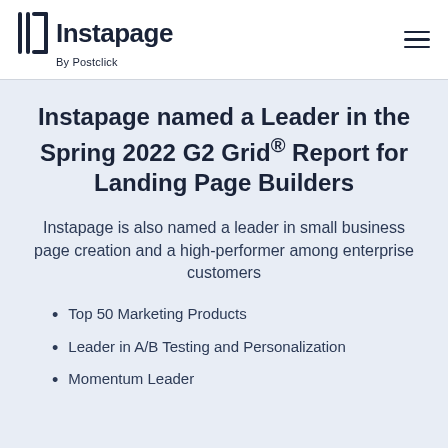Instapage By Postclick
Instapage named a Leader in the Spring 2022 G2 Grid® Report for Landing Page Builders
Instapage is also named a leader in small business page creation and a high-performer among enterprise customers
Top 50 Marketing Products
Leader in A/B Testing and Personalization
Momentum Leader